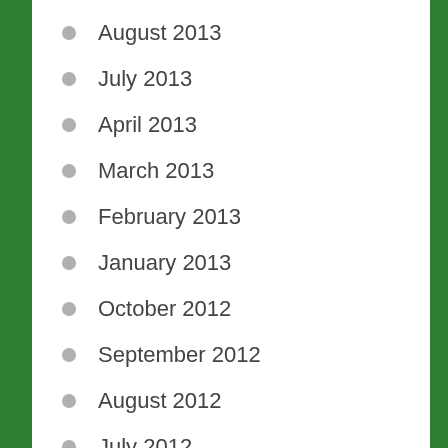August 2013
July 2013
April 2013
March 2013
February 2013
January 2013
October 2012
September 2012
August 2012
July 2012
June 2012
April 2012
February 2012
January 2012